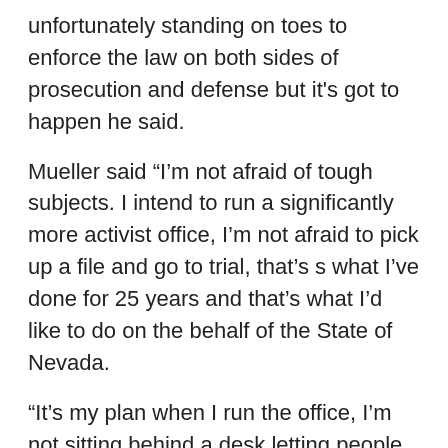unfortunately standing on toes to enforce the law on both sides of prosecution and defense but it's got to happen he said.
Mueller said "I'm not afraid of tough subjects. I intend to run a significantly more activist office, I'm not afraid to pick up a file and go to trial, that's s what I've done for 25 years and that's what I'd like to do on the behalf of the State of Nevada.
“It’s my plan when I run the office, I’m not sitting behind a desk letting people shuffle me information, and I want to get out to court at least once a month, and it would send a very strong message I expect people to represent the state aggressively.”
Mueller plans on coordinating a meet and greet in